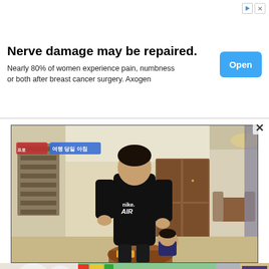[Figure (screenshot): Advertisement banner: 'Nerve damage may be repaired.' with body text 'Nearly 80% of women experience pain, numbness or both after breast cancer surgery. Axogen' and a blue 'Open' button. Ad icons (triangle play and X) in top right.]
[Figure (screenshot): Korean TV show screenshot (upper frame): A man in a black Nike Air hoodie standing in a living room, with a child near his feet. Korean subtitle badge visible top-left. Show appears to be a Korean variety/family program.]
[Figure (screenshot): Korean TV show screenshot (lower frame): A different scene showing chairs at a table and a person in gray sweatpants near a bookshelf. Korean subtitle badge visible. Channel logo visible bottom right.]